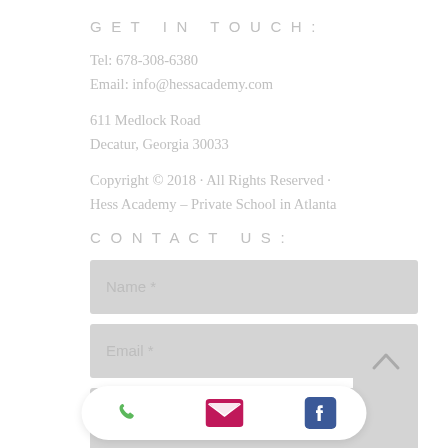GET IN TOUCH:
Tel: 678-308-6380
Email: info@hessacademy.com
611 Medlock Road
Decatur, Georgia 30033
Copyright © 2018 · All Rights Reserved · Hess Academy – Private School in Atlanta
CONTACT US:
Name *
Email *
Message